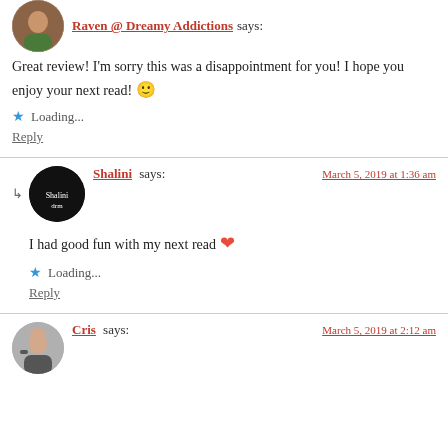Raven @ Dreamy Addictions says:
Great review! I'm sorry this was a disappointment for you! I hope you enjoy your next read! 🙂
Loading...
Reply
Shalini says: March 5, 2019 at 1:36 am
I had good fun with my next read ❤
Loading...
Reply
Cris says: March 5, 2019 at 2:12 am